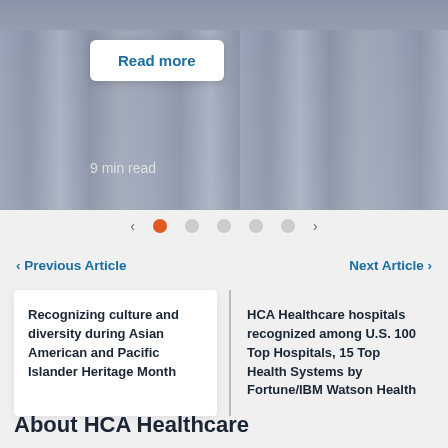[Figure (photo): Group of medical professionals in white lab coats, with a Read more button and '9 min read' text overlay]
Read more
9 min read
[Figure (other): Carousel navigation dots with left and right arrows. One orange active dot followed by four grey dots.]
< Previous Article
Next Article >
Recognizing culture and diversity during Asian American and Pacific Islander Heritage Month
HCA Healthcare hospitals recognized among U.S. 100 Top Hospitals, 15 Top Health Systems by Fortune/IBM Watson Health
About HCA Healthcare